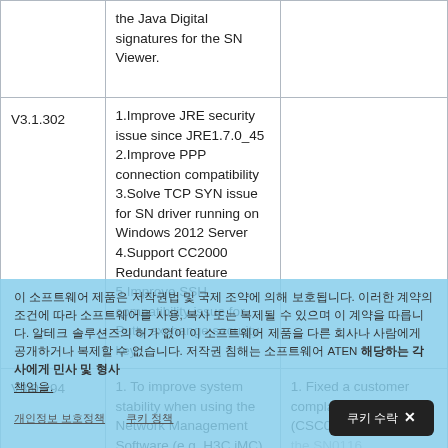| Version | New Features / Enhancements | Bug Fixes |
| --- | --- | --- |
|  | the Java Digital signatures for the SN Viewer. |  |
| V3.1.302 | 1.Improve JRE security issue since JRE1.7.0_45
2.Improve PPP connection compatibility
3.Solve TCP SYN issue for SN driver running on Windows 2012 Server
4.Support CC2000 Redundant feature
5.Improve SSH compatibility issue for Putty exchange security key |  |
| V3.0.294 | 1. To improve system stability when using the Network Management Software (e.g. H3C iMC), which supports the SNMP | 1. Fixed a customer complain (CSC0001550) – the SN0116 |
이 소프트웨어 제품은 저작권법 및 국제 조약에 의해 보호됩니다. 이러한 계약의 조건에 따라 소프트웨어를 사용, 복사 또는 복제될 수 있으며 이 계약을 따릅니다. 알테크 솔루션즈의 허가 없이 이 소프트웨어 제품을 다른 회사나 사람에게 공개하거나 복제할 수 없습니다. 저작권 침해는 소프트웨어 ATEN 해당하는 각사에게 민사 및 형사